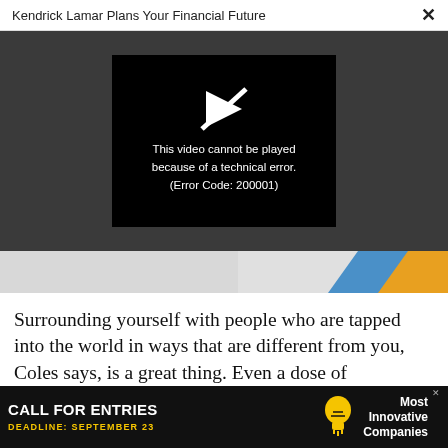Kendrick Lamar Plans Your Financial Future ×
[Figure (screenshot): Video player showing error message: 'This video cannot be played because of a technical error. (Error Code: 200001)' on black background within dark gray overlay area.]
[Figure (infographic): Advertisement banner with blue and yellow diagonal stripe decoration on right side.]
Surrounding yourself with people who are tapped into the world in ways that are different from you, Coles says, is a great thing. Even a dose of skepticism
[Figure (infographic): Advertisement bar: CALL FOR ENTRIES, DEADLINE: SEPTEMBER 23, lightbulb icon, Most Innovative Companies]